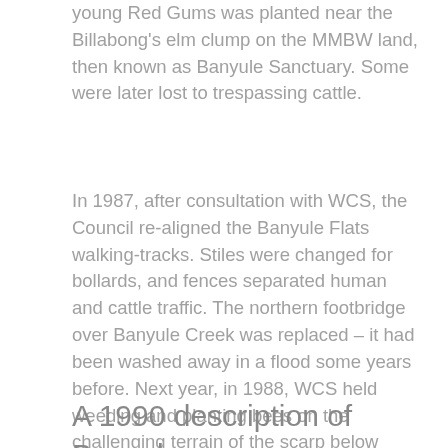young Red Gums was planted near the Billabong's elm clump on the MMBW land, then known as Banyule Sanctuary. Some were later lost to trespassing cattle.
In 1987, after consultation with WCS, the Council re-aligned the Banyule Flats walking-tracks. Stiles were changed for bollards, and fences separated human and cattle traffic. The northern footbridge over Banyule Creek was replaced – it had been washed away in a flood some years before. Next year, in 1988, WCS held weeding and planting bees on the challenging terrain of the scarp below Banyule House.
A 1990 description of Banyule